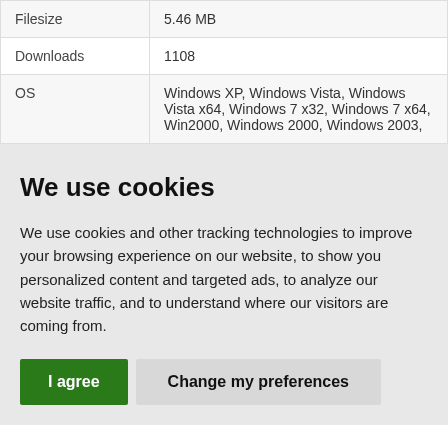| Filesize | 5.46 MB |
| Downloads | 1108 |
| OS | Windows XP, Windows Vista, Windows Vista x64, Windows 7 x32, Windows 7 x64, Win2000, Windows 2000, Windows 2003, |
We use cookies
We use cookies and other tracking technologies to improve your browsing experience on our website, to show you personalized content and targeted ads, to analyze our website traffic, and to understand where our visitors are coming from.
I agree | Change my preferences